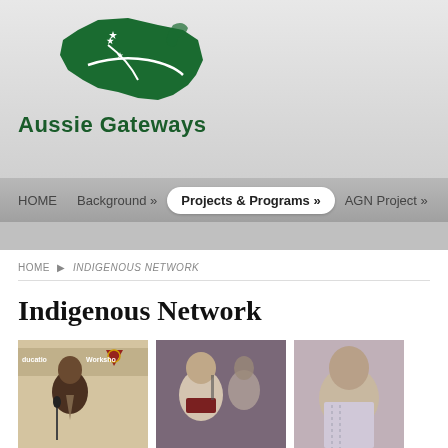[Figure (logo): Aussie Gateways logo with stylized green kangaroo and Australia map shape with stars]
HOME   Background »   Projects & Programs »   AGN Project »   Media
HOME ▶ INDIGENOUS NETWORK
Indigenous Network
[Figure (photo): Three photos showing Indigenous people at an education workshop and meetings]